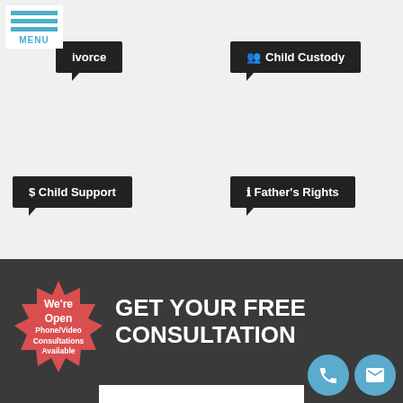[Figure (screenshot): Menu button with three blue horizontal bars and MENU text]
Divorce
Child Custody
$ Child Support
Father's Rights
[Figure (infographic): Dark banner with red starburst badge saying We're Open Phone/Video Consultations Available, large white text GET YOUR FREE CONSULTATION, and two circular icons for phone and email]
GET YOUR FREE CONSULTATION